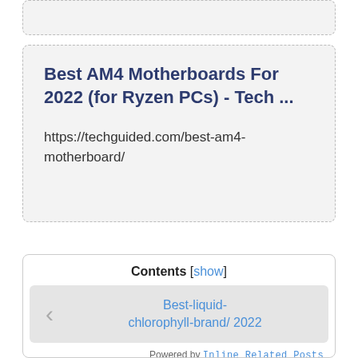[Figure (screenshot): Partial top card element, dashed border, gray background, cropped at top]
Best AM4 Motherboards For 2022 (for Ryzen PCs) - Tech ...
https://techguided.com/best-am4-motherboard/
Contents [show]
Best-liquid-chlorophyll-brand/ 2022
Powered by Inline Related Posts